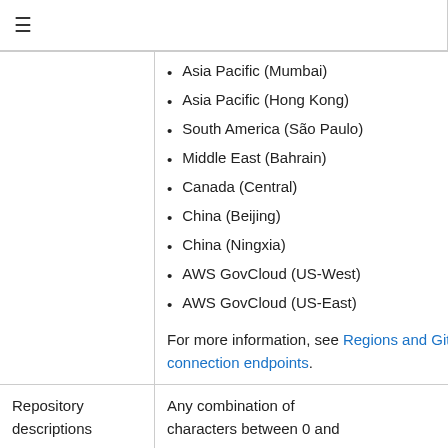≡
Asia Pacific (Mumbai)
Asia Pacific (Hong Kong)
South America (São Paulo)
Middle East (Bahrain)
Canada (Central)
China (Beijing)
China (Ningxia)
AWS GovCloud (US-West)
AWS GovCloud (US-East)
For more information, see Regions and Git connection endpoints.
|  |  |
| --- | --- |
| Repository descriptions | Any combination of characters between 0 and |